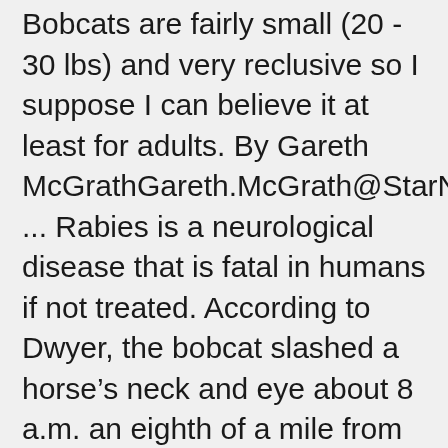Bobcats are fairly small (20 - 30 lbs) and very reclusive so I suppose I can believe it at least for adults. By Gareth McGrathGareth.McGrath@StarNewsOnline.com ... Rabies is a neurological disease that is fatal in humans if not treated. According to Dwyer, the bobcat slashed a horse's neck and eye about 8 a.m. an eighth of a mile from the golf course. It is its “bobbed” tail, which may be only 1 to 7 inches long, that gave it the name “bobcat.” In 2002, a hunter was repeatedly attacked by a bobcat in Rock Springs Run State Reserve near the Orange County line. During the same period, there is little reported about bobcats attacking people in South Florida. Anyone who sees a bobcat behaving strangely should contact the local animal control department. “I saw a lot of blood,” Wong said of the scene. The Florida wild bobcat